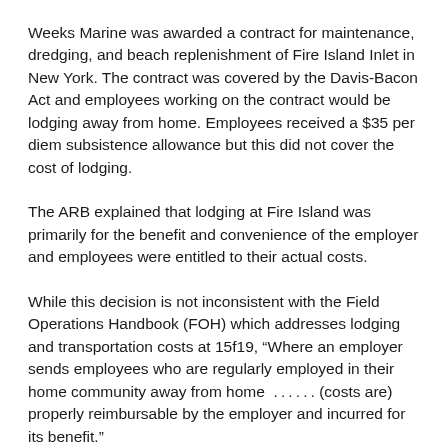Weeks Marine was awarded a contract for maintenance, dredging, and beach replenishment of Fire Island Inlet in New York. The contract was covered by the Davis-Bacon Act and employees working on the contract would be lodging away from home. Employees received a $35 per diem subsistence allowance but this did not cover the cost of lodging.
The ARB explained that lodging at Fire Island was primarily for the benefit and convenience of the employer and employees were entitled to their actual costs.
While this decision is not inconsistent with the Field Operations Handbook (FOH) which addresses lodging and transportation costs at 15f19, “Where an employer sends employees who are regularly employed in their home community away from home …… (costs are) properly reimbursable by the employer and incurred for its benefit.”